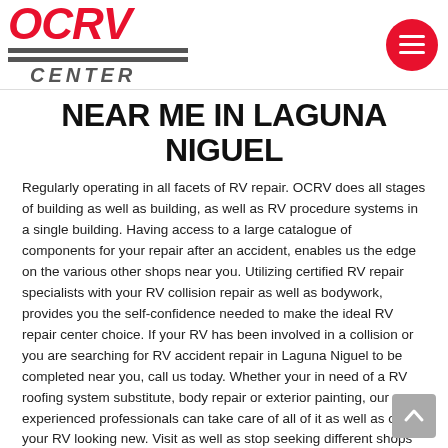OCRV CENTER logo with navigation menu button
NEAR ME IN LAGUNA NIGUEL
Regularly operating in all facets of RV repair. OCRV does all stages of building as well as building, as well as RV procedure systems in a single building. Having access to a large catalogue of components for your repair after an accident, enables us the edge on the various other shops near you. Utilizing certified RV repair specialists with your RV collision repair as well as bodywork, provides you the self-confidence needed to make the ideal RV repair center choice. If your RV has been involved in a collision or you are searching for RV accident repair in Laguna Niguel to be completed near you, call us today. Whether your in need of a RV roofing system substitute, body repair or exterior painting, our experienced professionals can take care of all of it as well as obtain your RV looking new. Visit as well as stop seeking different shops providing RV body repair